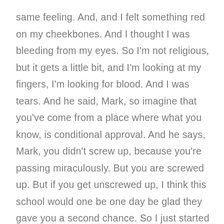same feeling. And, and I felt something red on my cheekbones. And I thought I was bleeding from my eyes. So I'm not religious, but it gets a little bit, and I'm looking at my fingers, I'm looking for blood. And I was tears. And he said, Mark, so imagine that you've come from a place where what you know, is conditional approval. And he says, Mark, you didn't screw up, because you're passing miraculously. But you are screwed up. But if you get unscrewed up, I think this school would one be one day be glad they gave you a second chance. So I just started to cry, talk about empathy. What I have was empathy was compassion and kindness what.